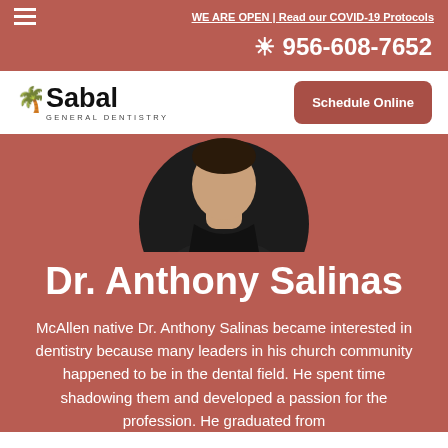WE ARE OPEN | Read our COVID-19 Protocols
956-608-7652
[Figure (logo): Sabal General Dentistry logo with palm tree icon]
Schedule Online
[Figure (photo): Circular portrait photo of Dr. Anthony Salinas wearing dark scrubs, cropped at chest level]
Dr. Anthony Salinas
McAllen native Dr. Anthony Salinas became interested in dentistry because many leaders in his church community happened to be in the dental field. He spent time shadowing them and developed a passion for the profession. He graduated from